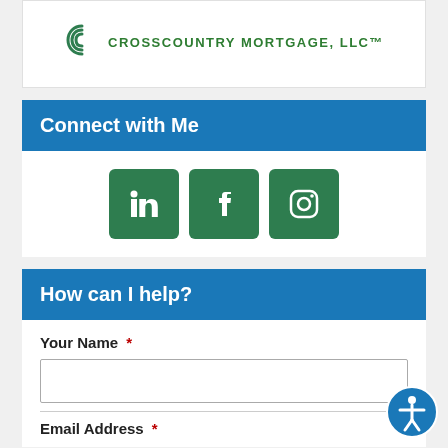[Figure (logo): CrossCountry Mortgage, LLC logo with green arc/wave icon and teal text]
Connect with Me
[Figure (infographic): Three green square social media icons: LinkedIn, Facebook, Instagram]
How can I help?
Your Name *
Email Address *